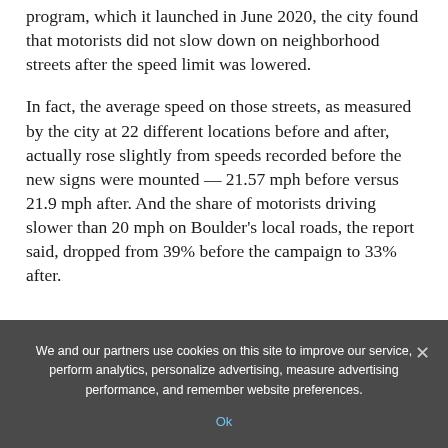program, which it launched in June 2020, the city found that motorists did not slow down on neighborhood streets after the speed limit was lowered.
In fact, the average speed on those streets, as measured by the city at 22 different locations before and after, actually rose slightly from speeds recorded before the new signs were mounted — 21.57 mph before versus 21.9 mph after. And the share of motorists driving slower than 20 mph on Boulder's local roads, the report said, dropped from 39% before the campaign to 33% after.
We and our partners use cookies on this site to improve our service, perform analytics, personalize advertising, measure advertising performance, and remember website preferences.
Ok